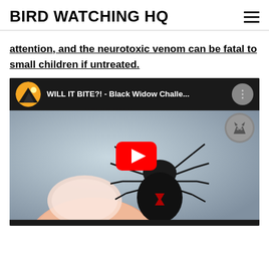BIRD WATCHING HQ
attention, and the neurotoxic venom can be fatal to small children if untreated.
[Figure (screenshot): YouTube video thumbnail showing a black widow spider perched on a human fingertip, with YouTube play button overlay. Video title: WILL IT BITE?! - Black Widow Challe...]